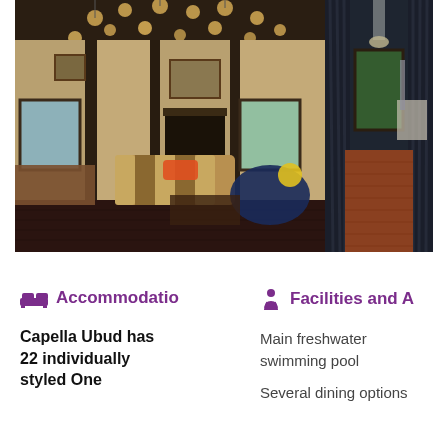[Figure (photo): Two hotel interior photos side by side. Left: ornate rustic lodge-style living room with Edison bulb chandelier, patterned wallpaper, fireplace, striped sofa, leather chairs, dark wood floors. Right: narrow corridor/room with floor-to-ceiling dark curtains and polished wood floors.]
Accommodation
Facilities and A
Capella Ubud has 22 individually styled One
Main freshwater swimming pool
Several dining options